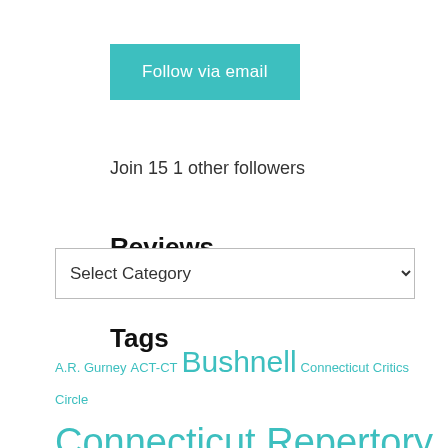Follow via email
Join 151 other followers
Reviews
Select Category
Tags
A.R. Gurney ACT-CT Bushnell Connecticut Critics Circle Connecticut Repertory Theater Darko Tresnjak Goodspeed Goodspeed Musicals Hartford Stage Irish Rep Ivoryton